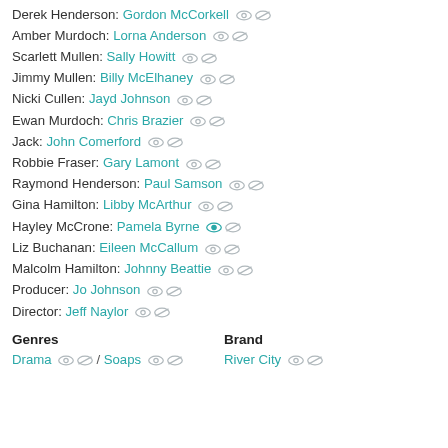Derek Henderson: Gordon McCorkell
Amber Murdoch: Lorna Anderson
Scarlett Mullen: Sally Howitt
Jimmy Mullen: Billy McElhaney
Nicki Cullen: Jayd Johnson
Ewan Murdoch: Chris Brazier
Jack: John Comerford
Robbie Fraser: Gary Lamont
Raymond Henderson: Paul Samson
Gina Hamilton: Libby McArthur
Hayley McCrone: Pamela Byrne
Liz Buchanan: Eileen McCallum
Malcolm Hamilton: Johnny Beattie
Producer: Jo Johnson
Director: Jeff Naylor
Genres
Brand
Drama / Soaps
River City